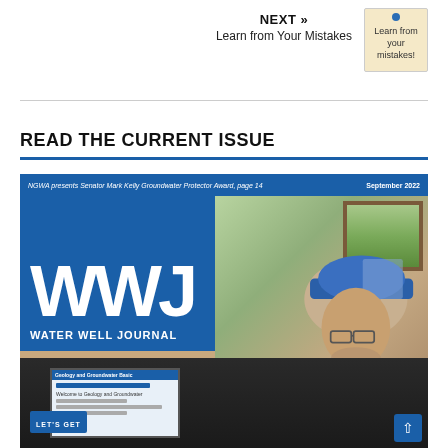NEXT » Learn from Your Mistakes
[Figure (photo): A sticky note with a pushpin reading 'Learn from your mistakes!']
READ THE CURRENT ISSUE
[Figure (photo): Water Well Journal September 2022 magazine cover showing WWJ logo on blue background with a person wearing a blue and white baseball cap looking at a computer monitor displaying a geology and groundwater website. Top bar reads: NGWA presents Senator Mark Kelly Groundwater Protector Award, page 14 | September 2022]